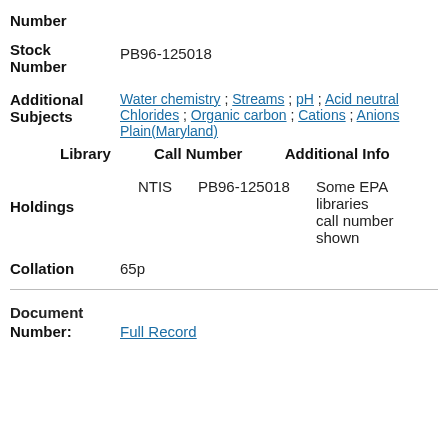Number
Stock Number
PB96-125018
Additional Subjects
Water chemistry ; Streams ; pH ; Acid neutral... ; Chlorides ; Organic carbon ; Cations ; Anions... ; Plain(Maryland)
| Library | Call Number | Additional Info |
| --- | --- | --- |
| NTIS | PB96-125018 | Some EPA libraries call number shown |
Holdings
Collation
65p
Document
Number:  Full Record